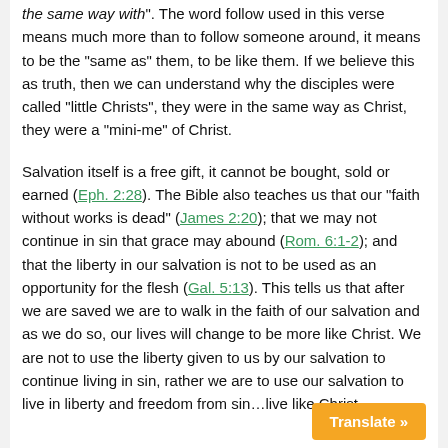the same way with". The word follow used in this verse means much more than to follow someone around, it means to be the "same as" them, to be like them. If we believe this as truth, then we can understand why the disciples were called "little Christs", they were in the same way as Christ, they were a "mini-me" of Christ.
Salvation itself is a free gift, it cannot be bought, sold or earned (Eph. 2:28). The Bible also teaches us that our "faith without works is dead" (James 2:20); that we may not continue in sin that grace may abound (Rom. 6:1-2); and that the liberty in our salvation is not to be used as an opportunity for the flesh (Gal. 5:13). This tells us that after we are saved we are to walk in the faith of our salvation and as we do so, our lives will change to be more like Christ. We are not to use the liberty given to us by our salvation to continue living in sin, rather we are to use our salvation to live in liberty and freedom from sin…live like Christ.